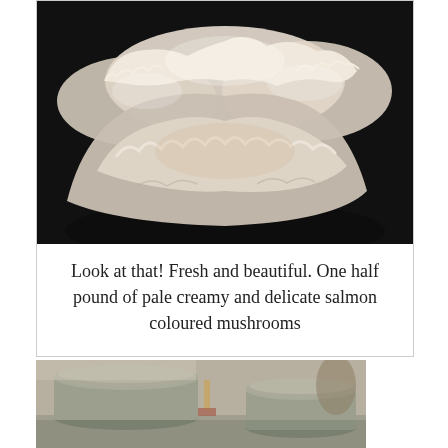[Figure (photo): Close-up photograph of fresh pale creamy and salmon-coloured oyster mushrooms growing in a dark container, viewed from above]
Look at that! Fresh and beautiful. One half pound of pale creamy and delicate salmon coloured mushrooms
[Figure (photo): Photograph of mason jars with metal lids on a table, dimly lit with small objects in the background]